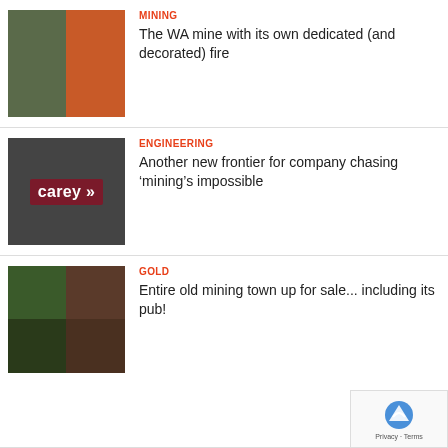[Figure (photo): Mining workers photo on left, orange industrial surface on right]
MINING
The WA mine with its own dedicated (and decorated) fire
[Figure (photo): Carey engineering company sign on dark background with yellow strip at bottom]
ENGINEERING
Another new frontier for company chasing ‘mining’s impossible
[Figure (photo): Four-panel collage: aerial forest view, interior room views, mining town scenes]
GOLD
Entire old mining town up for sale... including its pub!